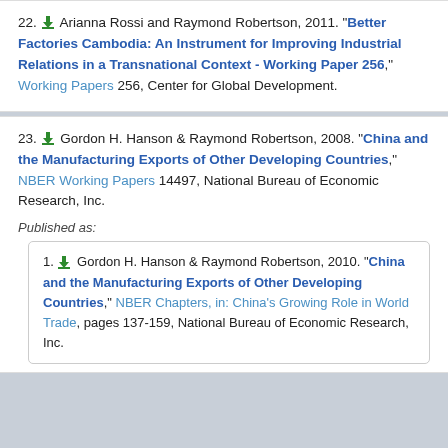22. Arianna Rossi and Raymond Robertson, 2011. "Better Factories Cambodia: An Instrument for Improving Industrial Relations in a Transnational Context - Working Paper 256," Working Papers 256, Center for Global Development.
23. Gordon H. Hanson & Raymond Robertson, 2008. "China and the Manufacturing Exports of Other Developing Countries," NBER Working Papers 14497, National Bureau of Economic Research, Inc.
Published as:
1. Gordon H. Hanson & Raymond Robertson, 2010. "China and the Manufacturing Exports of Other Developing Countries," NBER Chapters, in: China's Growing Role in World Trade, pages 137-159, National Bureau of Economic Research, Inc.